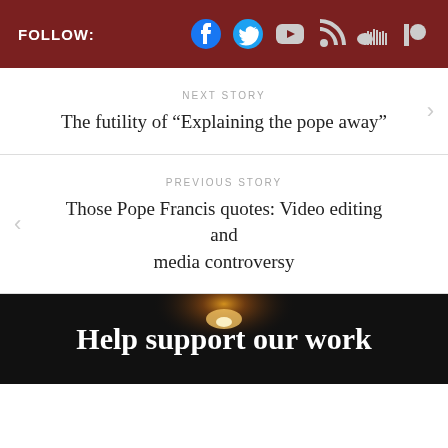FOLLOW:
NEXT STORY
The futility of “Explaining the pope away”
PREVIOUS STORY
Those Pope Francis quotes: Video editing and media controversy
[Figure (photo): Dark background with candle glow, text overlay reading 'Help support our work']